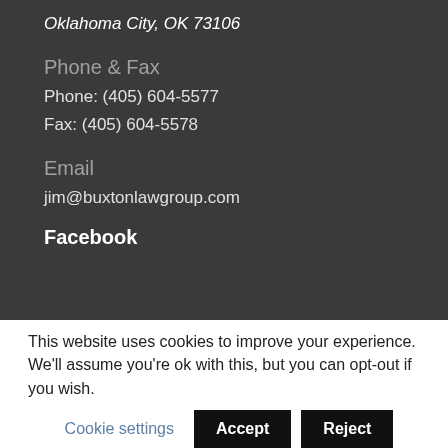Oklahoma City, OK 73106
Phone & Fax
Phone: (405) 604-5577
Fax: (405) 604-5578
Email
jim@buxtonlawgroup.com
Facebook
This website uses cookies to improve your experience. We'll assume you're ok with this, but you can opt-out if you wish.
Cookie settings | Accept | Reject